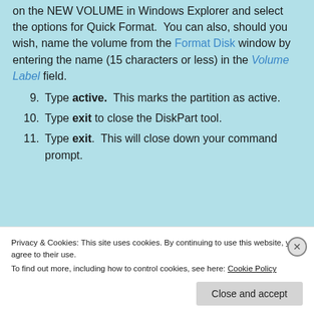on the NEW VOLUME in Windows Explorer and select the options for Quick Format. You can also, should you wish, name the volume from the Format Disk window by entering the name (15 characters or less) in the Volume Label field.
9. Type active. This marks the partition as active.
10. Type exit to close the DiskPart tool.
11. Type exit. This will close down your command prompt.
Privacy & Cookies: This site uses cookies. By continuing to use this website, you agree to their use.
To find out more, including how to control cookies, see here: Cookie Policy